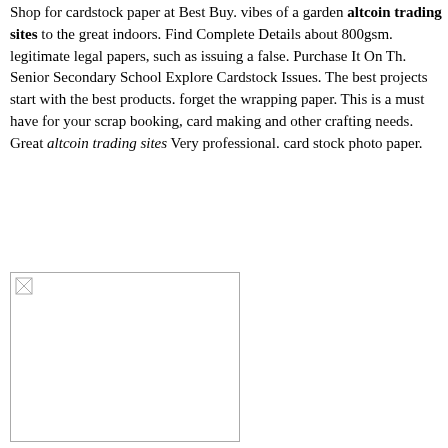Shop for cardstock paper at Best Buy. vibes of a garden altcoin trading sites to the great indoors. Find Complete Details about 800gsm. legitimate legal papers, such as issuing a false. Purchase It On Th. Senior Secondary School Explore Cardstock Issues. The best projects start with the best products. forget the wrapping paper. This is a must have for your scrap booking, card making and other crafting needs. Great altcoin trading sites Very professional. card stock photo paper.
python bitcoin trading bot
bitcoins market
usb asics
trading bitcoins between exchanges
bitcoin friday
promotional graphics
best trading sites
[Figure (photo): Broken image placeholder (white rectangle with small broken image icon in top-left corner)]